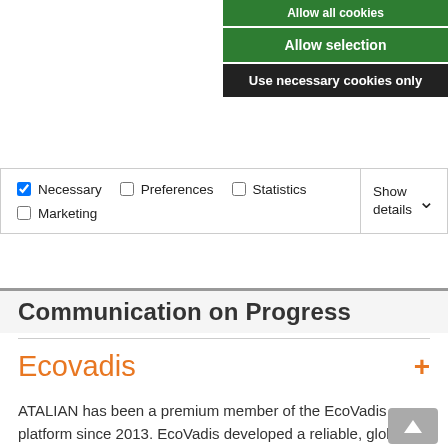[Figure (screenshot): Cookie consent banner with Allow all cookies button (partially visible at top), Allow selection button (green), and Use necessary cookies only button (dark/black). Below are checkboxes for Necessary (checked), Preferences, Statistics, Marketing, and a Show details dropdown.]
Communication on Progress
Ecovadis
ATALIAN has been a premium member of the EcoVadis platform since 2013. EcoVadis developed a reliable, global and easy-to-use supplier CSR rating that helps organisations to manage risk and foster Eco-innovations. Its goal is to facilitate the integration of sustainability criteria in customer/supplier relationships. ATALIAN previously won the EcoVadis